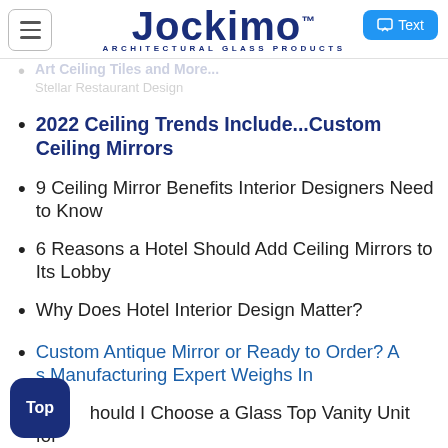[Figure (logo): Jockimo Architectural Glass Products logo with hamburger menu button and Text button]
2022 Ceiling Trends Include...Custom Ceiling Mirrors
9 Ceiling Mirror Benefits Interior Designers Need to Know
6 Reasons a Hotel Should Add Ceiling Mirrors to Its Lobby
Why Does Hotel Interior Design Matter?
Custom Antique Mirror or Ready to Order? A Glass Manufacturing Expert Weighs In
Should I Choose a Glass Top Vanity Unit for